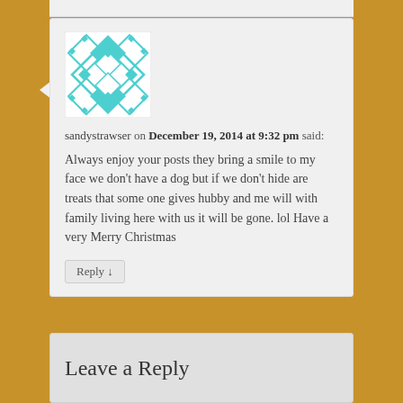[Figure (illustration): User avatar with teal geometric diamond pattern on white background]
sandystrawser on December 19, 2014 at 9:32 pm said:
Always enjoy your posts they bring a smile to my face we don't have a dog but if we don't hide are treats that some one gives hubby and me will with family living here with us it will be gone. lol Have a very Merry Christmas
Reply ↓
Leave a Reply